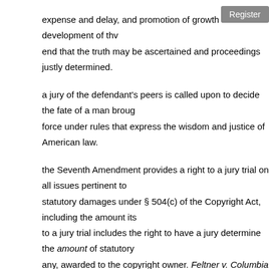expense and delay, and promotion of growth and development of th... end that the truth may be ascertained and proceedings justly determined.
a jury of the defendant's peers is called upon to decide the fate of a man broug... force under rules that express the wisdom and justice of American law.
the Seventh Amendment provides a right to a jury trial on all issues pertinent to... statutory damages under § 504(c) of the Copyright Act, including the amount its... to a jury trial includes the right to have a jury determine the amount of statutory... any, awarded to the copyright owner. Feltner v. Columbia Pictures Television, I... 340 (1998) (emphasis in original).
law of the law lord is wisdom in its making, justice in the application
wisdom comes from we the people. the function of the rules of civil procedure a... to shape the issue and the body of evidence the jury of the defendants peers is... consider.
Souter